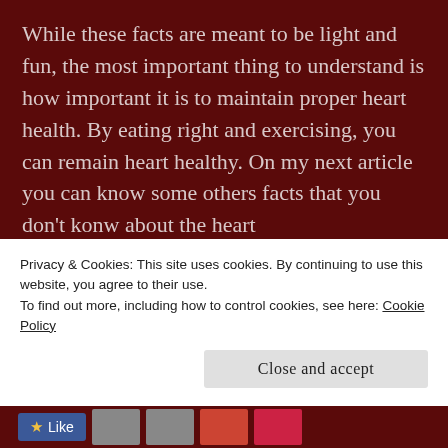While these facts are meant to be light and fun, the most important thing to understand is how important it is to maintain proper heart health. By eating right and exercising, you can remain heart healthy. On my next article you can know some others facts that you don't konw about the heart
Share this:
Privacy & Cookies: This site uses cookies. By continuing to use this website, you agree to their use.
To find out more, including how to control cookies, see here: Cookie Policy
Close and accept